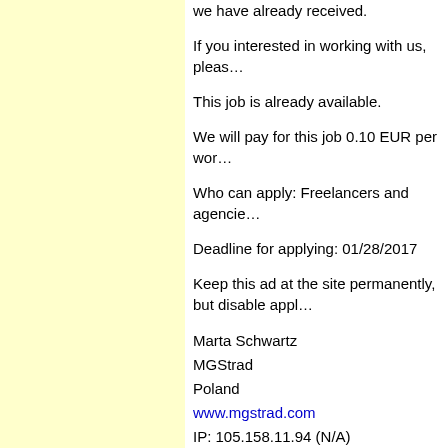we have already received.
If you interested in working with us, pleas…
This job is already available.
We will pay for this job 0.10 EUR per wor…
Who can apply: Freelancers and agencie…
Deadline for applying: 01/28/2017
Keep this ad at the site permanently, but disable appl…
Marta Schwartz
MGStrad
Poland
www.mgstrad.com
IP: 105.158.11.94 (N/A)
* * * * * * * * * * * * * * * * * *
Posted on Saturday, 07 Jan 2017, 13:58:
This jo…
Italian - English tra…
Source language(s): Italian
Target language(s): English